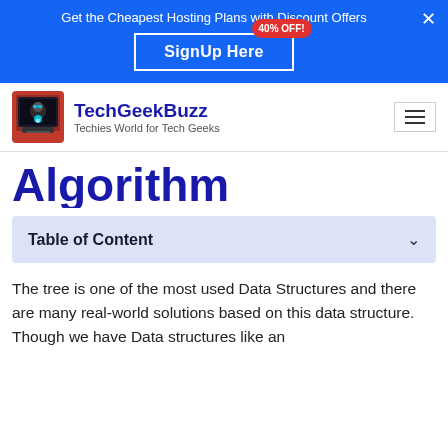[Figure (infographic): Blue promotional banner with text 'Get the Cheapest Hosting Plans with Discount Offers', a 'SignUp Here' button with white border, and a red '40% OFF!' badge. A white X close button is in the top right.]
TechGeekBuzz — Techies World for Tech Geeks
Algorithm
Table of Content
The tree is one of the most used Data Structures and there are many real-world solutions based on this data structure. Though we have Data structures like an